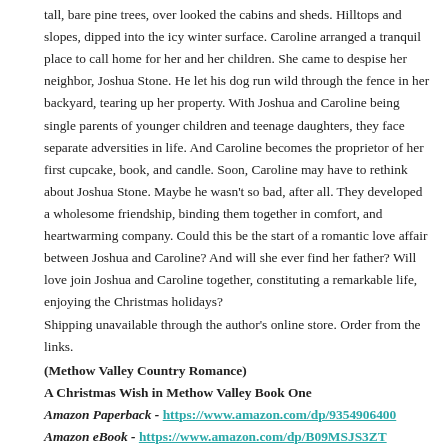tall, bare pine trees, over looked the cabins and sheds. Hilltops and slopes, dipped into the icy winter surface. Caroline arranged a tranquil place to call home for her and her children. She came to despise her neighbor, Joshua Stone. He let his dog run wild through the fence in her backyard, tearing up her property. With Joshua and Caroline being single parents of younger children and teenage daughters, they face separate adversities in life. And Caroline becomes the proprietor of her first cupcake, book, and candle. Soon, Caroline may have to rethink about Joshua Stone. Maybe he wasn't so bad, after all. They developed a wholesome friendship, binding them together in comfort, and heartwarming company. Could this be the start of a romantic love affair between Joshua and Caroline? And will she ever find her father? Will love join Joshua and Caroline together, constituting a remarkable life, enjoying the Christmas holidays?
Shipping unavailable through the author's online store. Order from the links.
(Methow Valley Country Romance)
A Christmas Wish in Methow Valley Book One
Amazon Paperback - https://www.amazon.com/dp/9354906400
Amazon eBook - https://www.amazon.com/dp/B09MSJS3ZT
Ukiyoto All Versions - https://www.ukiyoto.com/product-page/a-christmas-wish-in-methow-valley